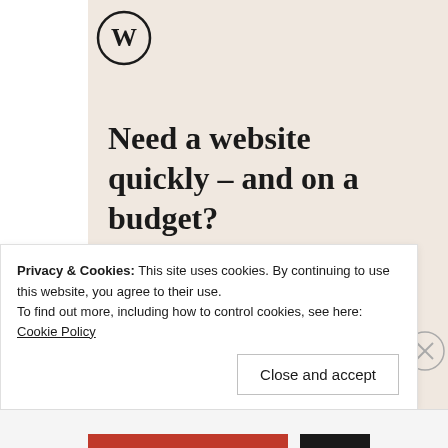[Figure (logo): WordPress circular logo (W in a circle) in dark color on beige background]
Need a website quickly – and on a budget?
Let us build it for you
Let's get started
Privacy & Cookies: This site uses cookies. By continuing to use this website, you agree to their use.
To find out more, including how to control cookies, see here: Cookie Policy
Close and accept